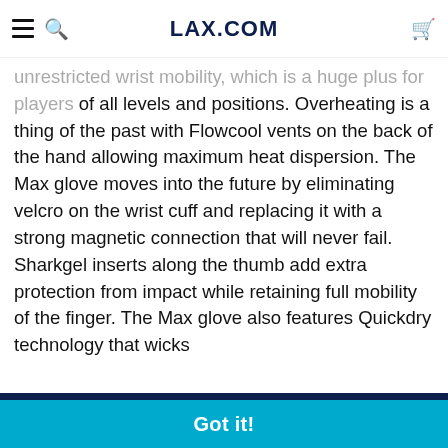LAX.COM
unrestricted wrist mobility, which is a huge plus for players of all levels and positions. Overheating is a thing of the past with Flowcool vents on the back of the hand allowing maximum heat dispersion. The Max glove moves into the future by eliminating velcro on the wrist cuff and replacing it with a strong magnetic connection that will never fail. Sharkgel inserts along the thumb add extra protection from impact while retaining full mobility of the finger. The Max glove also features Quickdry technology that wicks
dry all
flex
This website uses cookies to ensure you get the best experience on our website. Learn more
Got it!